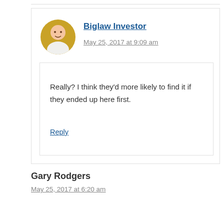Biglaw Investor
May 25, 2017 at 9:09 am
Really? I think they'd more likely to find it if they ended up here first.
Reply
Gary Rodgers
May 25, 2017 at 6:20 am